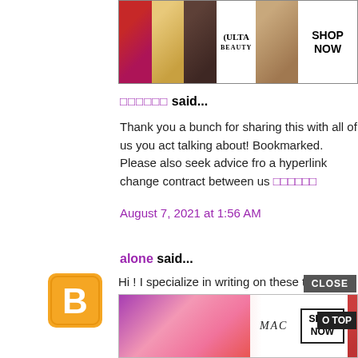[Figure (photo): Ulta Beauty advertisement banner showing makeup images (lips, brush, eye, logo, model) with SHOP NOW button]
□□□□□□ said...
Thank you a bunch for sharing this with all of us you act talking about! Bookmarked. Please also seek advice fro a hyperlink change contract between us □□□□□□
August 7, 2021 at 1:56 AM
alone said...
[Figure (logo): Blogger avatar icon - orange B logo]
Hi ! I specialize in writing on these topics. My blog also h and forums. Please visit once. Keo bong da
August 11, 2021 at 12:15 AM
□□□□□□□ said
[Figure (photo): MAC Cosmetics advertisement banner with SHOP NOW button and CLOSE button overlay, GO TOP button]